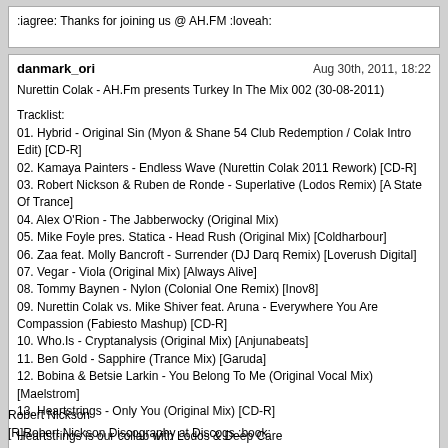:iagree: Thanks for joining us @ AH.FM :loveah:
danmark_ori
Aug 30th, 2011, 18:22
Nurettin Colak - AH.Fm presents Turkey In The Mix 002 (30-08-2011)

Tracklist:
01. Hybrid - Original Sin (Myon & Shane 54 Club Redemption / Colak Intro Edit) [CD-R]
02. Kamaya Painters - Endless Wave (Nurettin Colak 2011 Rework) [CD-R]
03. Robert Nickson & Ruben de Ronde - Superlative (Lodos Remix) [A State Of Trance]
04. Alex O'Rion - The Jabberwocky (Original Mix)
05. Mike Foyle pres. Statica - Head Rush (Original Mix) [Coldharbour]
06. Zaa feat. Molly Bancroft - Surrender (DJ Darq Remix) [Loverush Digital]
07. Vegar - Viola (Original Mix) [Always Alive]
08. Tommy Baynen - Nylon (Colonial One Remix) [Inov8]
09. Nurettin Colak vs. Mike Shiver feat. Aruna - Everywhere You Are Compassion (Fabiesto Mashup) [CD-R]
10. Who.Is - Cryptanalysis (Original Mix) [Anjunabeats]
11. Ben Gold - Sapphire (Trance Mix) [Garuda]
12. Bobina & Betsie Larkin - You Belong To Me (Original Vocal Mix) [Maelstrom]
13. Heartstrings - Only You (Original Mix) [CD-R]

Heartstrings is our collab with Lodos & Deep Care
Robert Nickson
[R]Robert Nickson Discography at Discogs :book: